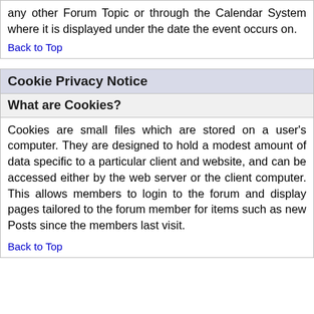any other Forum Topic or through the Calendar System where it is displayed under the date the event occurs on.
Back to Top
Cookie Privacy Notice
What are Cookies?
Cookies are small files which are stored on a user's computer. They are designed to hold a modest amount of data specific to a particular client and website, and can be accessed either by the web server or the client computer. This allows members to login to the forum and display pages tailored to the forum member for items such as new Posts since the members last visit.
Back to Top